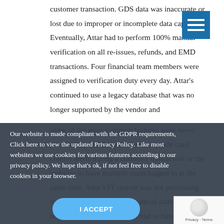customer transaction. GDS data was inaccurate or lost due to improper or incomplete data capture. Eventually, Attar had to perform 100% manual verification on all re-issues, refunds, and EMD transactions. Four financial team members were assigned to verification duty every day. Attar's continued to use a legacy database that was no longer supported by the vendor and some of the most common features were never provided by its IT vendor such as credit card control alerts during a customer transaction or the inability to have multiple users logged in at the same time. Attar's IT system was not processing transactions in real time. Financial statements were not available on demand but had to have an end-of-day financial close before the actual status of providers.
Our website is made compliant with the GDPR requirements, Click here to view the updated Privacy Policy. Like most websites we use cookies for various features according to our privacy policy. We hope that's ok, if not feel free to disable cookies in your browser.